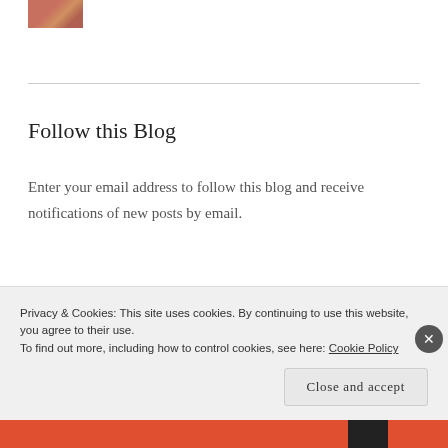[Figure (photo): Small thumbnail image at top left, partially cropped]
Follow this Blog
Enter your email address to follow this blog and receive notifications of new posts by email.
Email Address (input field)
Privacy & Cookies: This site uses cookies. By continuing to use this website, you agree to their use.
To find out more, including how to control cookies, see here: Cookie Policy
Close and accept